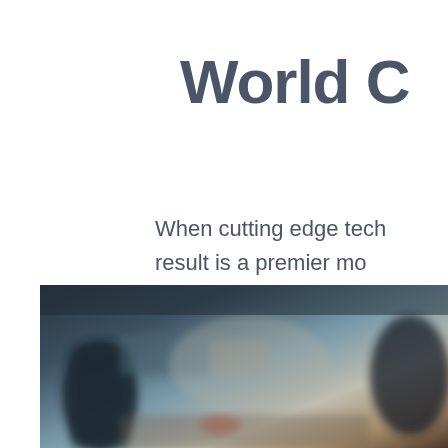World C
When cutting edge tech result is a premier mo Designed to complemen recognizes globally fo
[Figure (photo): Blurred photograph of people in what appears to be a workshop or classroom setting, showing dark tones with figures in the background]